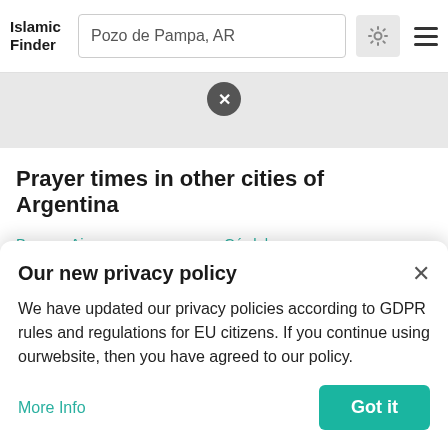Islamic Finder — Pozo de Pampa, AR
Prayer times in other cities of Argentina
Buenos Aires / Buenos Aires F.D.
Córdoba / Cordoba
Cordoba
La Plata
Our new privacy policy
We have updated our privacy policies according to GDPR rules and regulations for EU citizens. If you continue using ourwebsite, then you have agreed to our policy.
More Info
Got it